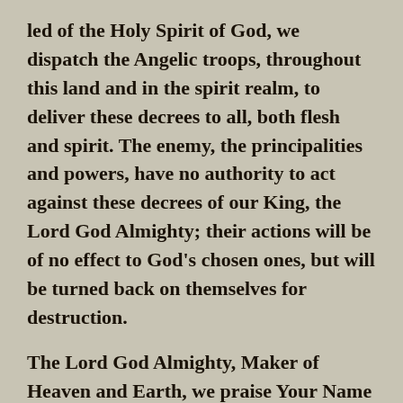led of the Holy Spirit of God, we dispatch the Angelic troops, throughout this land and in the spirit realm, to deliver these decrees to all, both flesh and spirit. The enemy, the principalities and powers, have no authority to act against these decrees of our King, the Lord God Almighty; their actions will be of no effect to God's chosen ones, but will be turned back on themselves for destruction.
The Lord God Almighty, Maker of Heaven and Earth, we praise Your Name for You are True and Faithful and Just to perform it.  Amen!
Blessings,